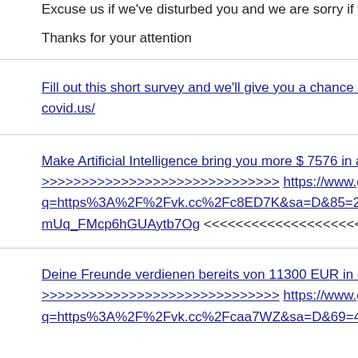Excuse us if we've disturbed you and we are sorry if y
Thanks for your attention
Fill out this short survey and we'll give you a chance to covid.us/
Make Artificial Intelligence bring you more $ 7576 in a >>>>>>>>>>>>>>>>>>>>>>>>>>>>>> https://www.goo q=https%3A%2F%2Fvk.cc%2Fc8ED7K&sa=D&85=2 mUq_FMcp6hGUAytb7Og <<<<<<<<<<<<<<<<<<<
Deine Freunde verdienen bereits von 11300 EUR in de >>>>>>>>>>>>>>>>>>>>>>>>>>>>>> https://www.goo q=https%3A%2F%2Fvk.cc%2Fcaa7WZ&sa=D&69=4